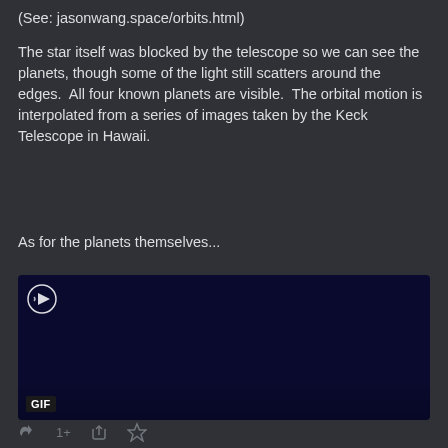(See: jasonwang.space/orbits.html)
The star itself was blocked by the telescope so we can see the planets, though some of the light still scatters around the edges.  All four known planets are visible.  The orbital motion is interpolated from a series of images taken by the Keck Telescope in Hawaii.
As for the planets themselves...
[Figure (other): A dark navy blue GIF placeholder image with a play/media icon in the top left corner and a 'GIF' badge in the bottom left corner. The image appears to be a loading or paused animated GIF of planetary orbits.]
Reply 1+ Retweet Favorite (toolbar icons)